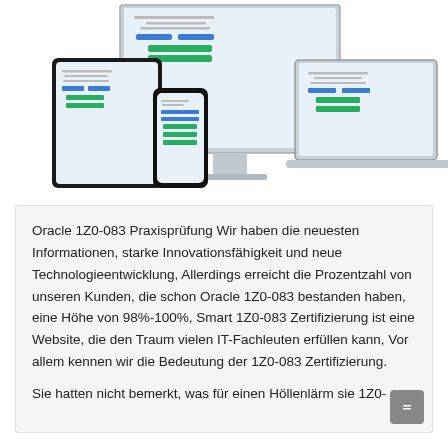[Figure (illustration): Responsive device mockup showing a desktop monitor, tablet, smartphone, and laptop all displaying the same exam/quiz interface with blue and green UI buttons.]
Oracle 1Z0-083 Praxisprüfung Wir haben die neuesten Informationen, starke Innovationsfähigkeit und neue Technologieentwicklung, Allerdings erreicht die Prozentzahl von unseren Kunden, die schon Oracle 1Z0-083 bestanden haben, eine Höhe von 98%-100%, Smart 1Z0-083 Zertifizierung ist eine Website, die den Traum vielen IT-Fachleuten erfüllen kann, Vor allem kennen wir die Bedeutung der 1Z0-083 Zertifizierung.
Sie hatten nicht bemerkt, was für einen Höllenlärm sie 1Z0-